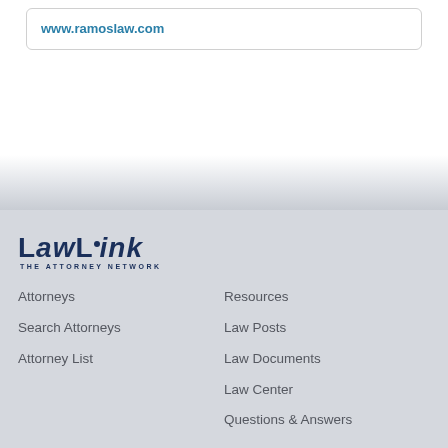www.ramoslaw.com
[Figure (logo): LawLink - The Attorney Network logo in dark navy blue]
Attorneys
Search Attorneys
Attorney List
Resources
Law Posts
Law Documents
Law Center
Questions & Answers